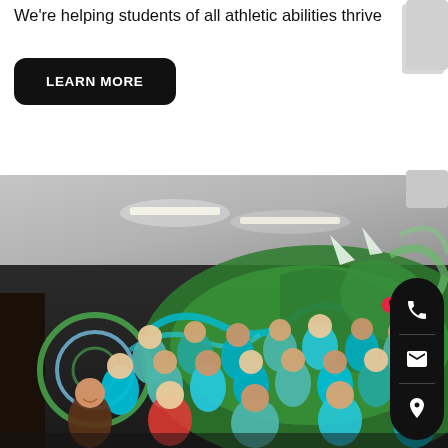We're helping students of all athletic abilities thrive
LEARN MORE
[Figure (photo): Group photo of children and instructors wearing light blue t-shirts in front of a colorful green dragon mural on a dark wall, inside a gymnasium or martial arts studio with fluorescent ceiling lights.]